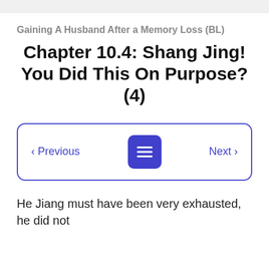Gaining A Husband After a Memory Loss (BL)
Chapter 10.4: Shang Jing! You Did This On Purpose? (4)
‹ Previous   [menu icon]   Next ›
He Jiang must have been very exhausted, he did not